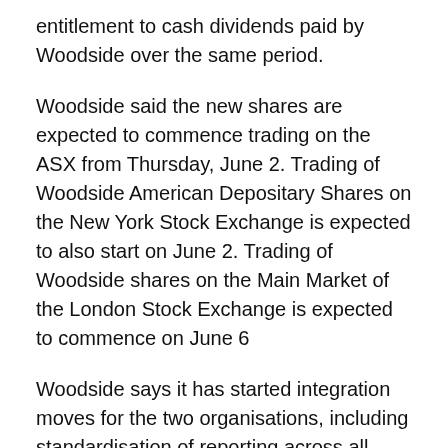entitlement to cash dividends paid by Woodside over the same period.
Woodside said the new shares are expected to commence trading on the ASX from Thursday, June 2. Trading of Woodside American Depositary Shares on the New York Stock Exchange is expected to also start on June 2. Trading of Woodside shares on the Main Market of the London Stock Exchange is expected to commence on June 6
Woodside says it has started integration moves for the two organisations, including standardisation of reporting across all jurisdictions. The updated production guidance, reserves position and other related information will be released in due course (later this year). the aim of the integration is to cut costs and around $US400 million in annual costs (which will mean job losses).